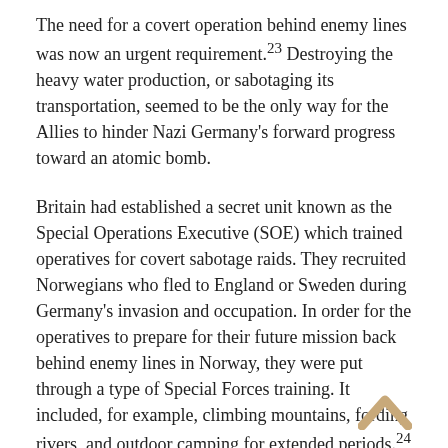The need for a covert operation behind enemy lines was now an urgent requirement.23 Destroying the heavy water production, or sabotaging its transportation, seemed to be the only way for the Allies to hinder Nazi Germany's forward progress toward an atomic bomb.
Britain had established a secret unit known as the Special Operations Executive (SOE) which trained operatives for covert sabotage raids. They recruited Norwegians who fled to England or Sweden during Germany's invasion and occupation. In order for the operatives to prepare for their future mission back behind enemy lines in Norway, they were put through a type of Special Forces training. It included, for example, climbing mountains, fording rivers, and outdoor camping for extended periods.24